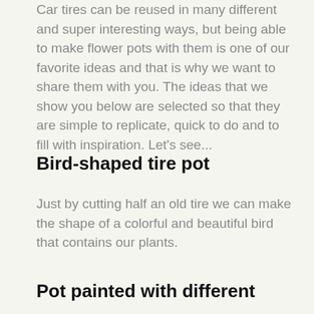Car tires can be reused in many different and super interesting ways, but being able to make flower pots with them is one of our favorite ideas and that is why we want to share them with you. The ideas that we show you below are selected so that they are simple to replicate, quick to do and to fill with inspiration. Let's see...
Bird-shaped tire pot
Just by cutting half an old tire we can make the shape of a colorful and beautiful bird that contains our plants.
Pot painted with different